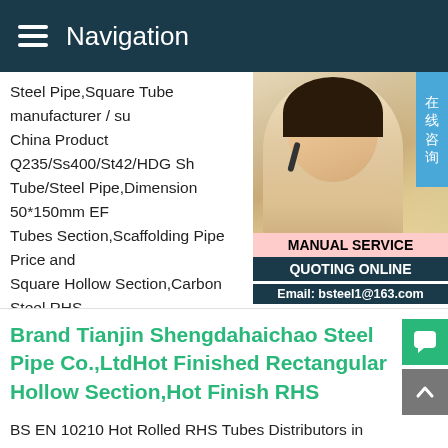Navigation
Steel Pipe,Square Tube manufacturer / su China Product Q235/Ss400/St42/HDG Sh Tube/Steel Pipe,Dimension 50*150mm EF Tubes Section,Scaffolding Pipe Price and Square Hollow Section,Carbon Steel RHS Rectangular Pipe / Steel Rectangular Tube Seamless Rectangular Pipes / Carbon Ste Sections.Rectangular Size 10mm*15mm - 300mm*400mm ---- 600*550mm Wall Thic Type ERW / WELDED / SEAMLESS
[Figure (photo): Customer service representative woman wearing headset, with Chinese badge '在线咨询' (Online Consultation), MANUAL SERVICE label in pink, QUOTING ONLINE label in dark, Email: bsteel1@163.com]
Brand Tianjin Shengdahaichao Steel Pipe Co.,LtdHot Finished Rectangular Hollow Section,Hot Finish RHS
BS EN 10210 Hot Rolled RHS Tubes Distributors in India,Hot Finished Rectangular Pipe,Hot Finish Mild Steel Rectangular